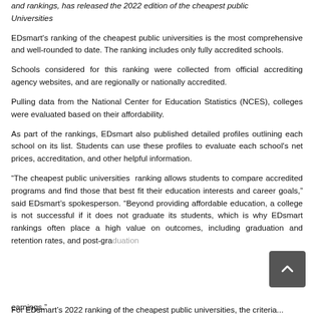and rankings, has released the 2022 edition of the cheapest public Universities
EDsmart's ranking of the cheapest public universities is the most comprehensive and well-rounded to date. The ranking includes only fully accredited schools.
Schools considered for this ranking were collected from official accrediting agency websites, and are regionally or nationally accredited.
Pulling data from the National Center for Education Statistics (NCES), colleges were evaluated based on their affordability.
As part of the rankings, EDsmart also published detailed profiles outlining each school on its list. Students can use these profiles to evaluate each school's net prices, accreditation, and other helpful information.
“The cheapest public universities  ranking allows students to compare accredited programs and find those that best fit their education interests and career goals,” said EDsmart’s spokesperson. “Beyond providing affordable education, a college is not successful if it does not graduate its students, which is why EDsmart rankings often place a high value on outcomes, including graduation and retention rates, and post-graduation earnings.”
For EDsmart’s 2022 ranking of the cheapest public universities, the criteria...